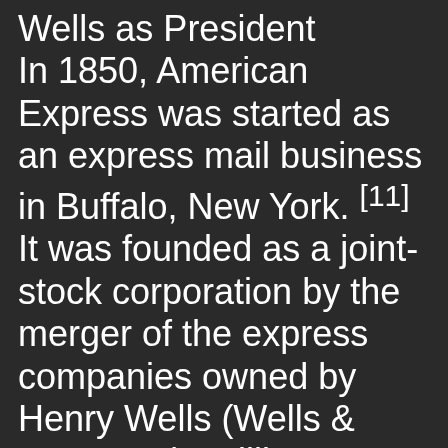Wells as President In 1850, American Express was started as an express mail business in Buffalo, New York. [11] It was founded as a joint-stock corporation by the merger of the express companies owned by Henry Wells (Wells & Company), William G. Fargo (Livingston, Fargo & Company), and John Warren Butterfield (Wells, Butterfield & Company, the